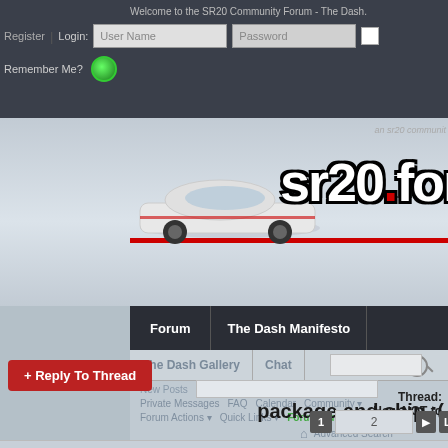Welcome to the SR20 Community Forum - The Dash.
Register | Login: [User Name] [Password]
Remember Me?
[Figure (screenshot): SR20 Forum banner with white car and sr20.forum logo with red dot]
Forum | The Dash Manifesto
The Dash Gallery | Chat
New Posts
Private Messages | FAQ | Calendar | Community
Forum Actions | Quick Links | Forum Rules
Thread: How NOT to package and ship :(
→ Forum Classifieds → Classifieds - User Feedback →
How NOT to package and ship :(
+ Reply To Thread
1  2  Last